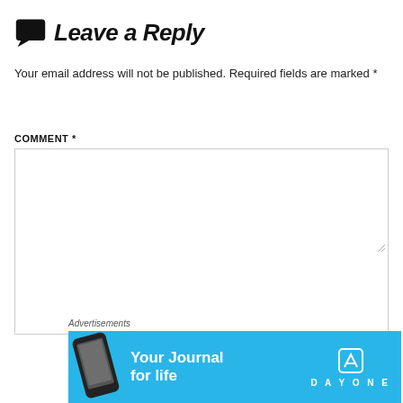Leave a Reply
Your email address will not be published. Required fields are marked *
COMMENT *
[Figure (screenshot): Comment text area input box, empty, with resize handle at bottom right]
[Figure (screenshot): Partial text input field partially visible at bottom]
[Figure (other): Close/dismiss button (X circle) at top right of advertisement overlay]
Advertisements
[Figure (other): Day One app advertisement banner: blue background with phone graphic, text 'Your Journal for life' and Day One logo]